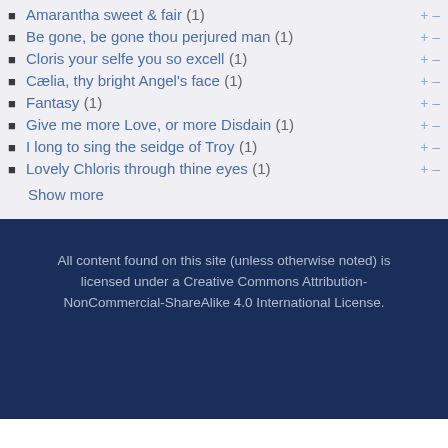Amarantha sweet & fair (1)
Be gone, be gone thou perjured man (1)
Cloris your selfe you so excell (1)
Cælia, thy bright Angel's face (1)
Fantasy (1)
Give me more Love, or more Disdain (1)
I long to sing the seidge of Troy (1)
Lovely Chloris through thine eyes (1)
Show more
All content found on this site (unless otherwise noted) is licensed under a Creative Commons Attribution-NonCommercial-ShareAlike 4.0 International License.